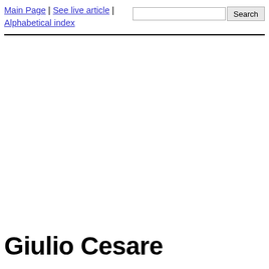Main Page | See live article | Alphabetical index
Giulio Cesare